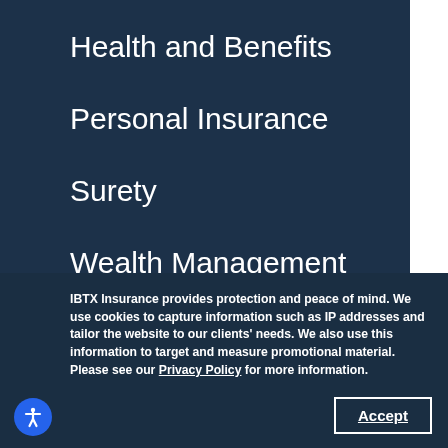Health and Benefits
Personal Insurance
Surety
Wealth Management
IBTX Insurance provides protection and peace of mind. We use cookies to capture information such as IP addresses and tailor the website to our clients' needs. We also use this information to target and measure promotional material. Please see our Privacy Policy for more information.